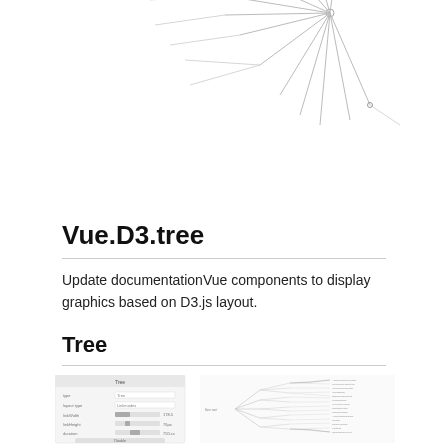[Figure (network-graph): Radial tree/network diagram with lines branching out from a central node, rendered in light gray lines on white background]
Vue.D3.tree
Update documentationVue components to display graphics based on D3.js layout.
Tree
[Figure (screenshot): Two side-by-side screenshots: left shows a settings/configuration panel for a Tree component; right shows a rendered horizontal tree visualization with curved branches and many leaf nodes]